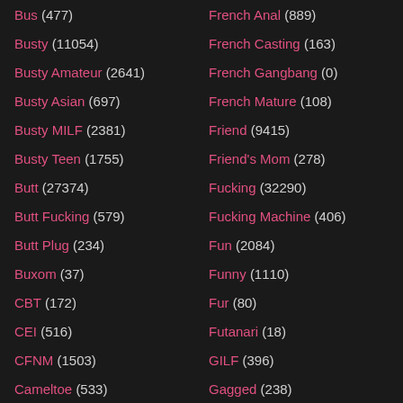Bus (477)
Busty (11054)
Busty Amateur (2641)
Busty Asian (697)
Busty MILF (2381)
Busty Teen (1755)
Butt (27374)
Butt Fucking (579)
Butt Plug (234)
Buxom (37)
CBT (172)
CEI (516)
CFNM (1503)
Cameltoe (533)
Camgirl (877)
Canadian (126)
French Anal (889)
French Casting (163)
French Gangbang (0)
French Mature (108)
Friend (9415)
Friend's Mom (278)
Fucking (32290)
Fucking Machine (406)
Fun (2084)
Funny (1110)
Fur (80)
Futanari (18)
GILF (396)
Gagged (238)
Gagging (828)
Game (722)